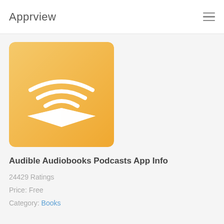Apprview
[Figure (logo): Audible app icon — orange/yellow gradient square with white headphones/signal wave book logo]
Audible Audiobooks Podcasts App Info
24429 Ratings
Price: Free
Category: Books